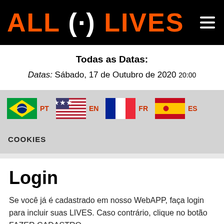ALL (·) LIVES
Todas as Datas:
Datas: Sábado, 17 de Outubro de 2020 20:00
[Figure (infographic): Four country flags with language codes: Brazilian flag (PT), US flag (EN), French flag (FR), Spanish flag (ES)]
COOKIES
Login
Se você já é cadastrado em nosso WebAPP, faça login para incluir suas LIVES. Caso contrário, clique no botão FAZER CADASTRO.